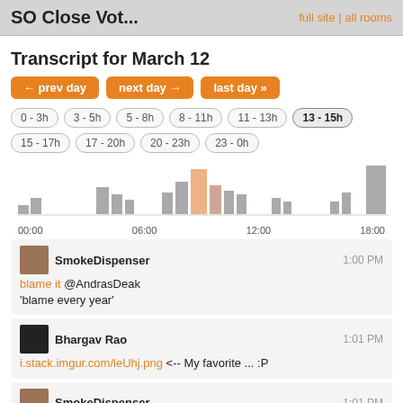SO Close Vot... | full site | all rooms
Transcript for March 12
← prev day | next day → | last day »
0 - 3h | 3 - 5h | 5 - 8h | 8 - 11h | 11 - 13h | 13 - 15h | 15 - 17h | 17 - 20h | 20 - 23h | 23 - 0h
[Figure (bar-chart): Activity chart]
SmokeDispenser 1:00 PM
blame it @AndrasDeak
'blame every year'
Bhargav Rao 1:01 PM
i.stack.imgur.com/leUhj.png <-- My favorite ... :P
SmokeDispenser 1:01 PM
I asked Ikea what I should blame it for, they didn't respond
user2314737 1:03 PM
it seems that I'm burninating recall